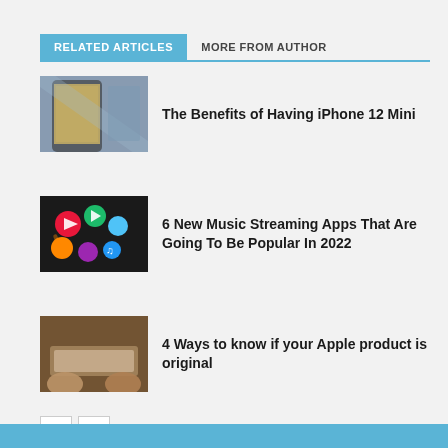RELATED ARTICLES
MORE FROM AUTHOR
[Figure (photo): iPhone 12 Mini smartphone on a table]
The Benefits of Having iPhone 12 Mini
[Figure (photo): Colorful music streaming app icons hanging]
6 New Music Streaming Apps That Are Going To Be Popular In 2022
[Figure (photo): Hands holding an Apple product device]
4 Ways to know if your Apple product is original